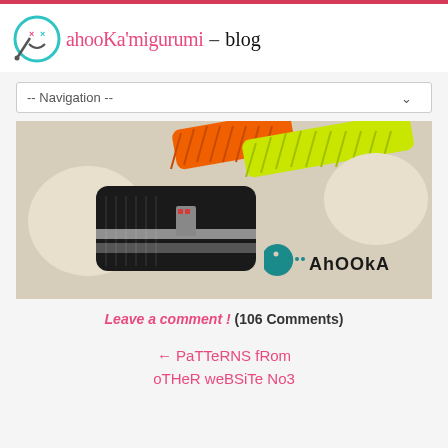ahookamigurumi - blog
-- Navigation --
[Figure (photo): Crochet amigurumi figure lying on a beige surface, made with black, orange, and neon yellow crochet yarn, with cream-colored rounded ends. Ahooka watermark logo in the bottom right corner.]
Leave a comment ! (106 Comments)
← Patterns from other website No3